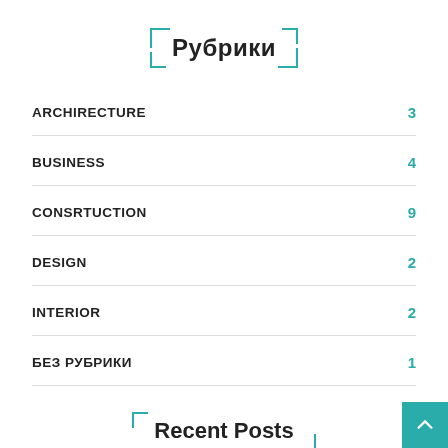Рубрики
ARCHIRECTURE 3
BUSINESS 4
CONSRTUCTION 9
DESIGN 2
INTERIOR 2
БЕЗ РУБРИКИ 1
Recent Posts
No posts were found for display